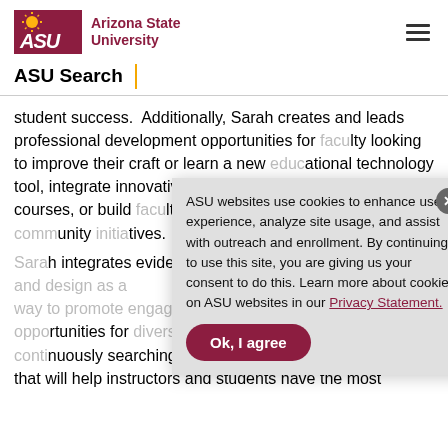ASU | Arizona State University
ASU Search
student success.  Additionally, Sarah creates and leads professional development opportunities for faculty looking to improve their craft or learn a new educational technology tool, integrate innovative pedagogical practices into their courses, or build faculty community through learning community initiatives.
Sarah integrates evidence-based practices into curriculum and design as a way to promote engaged and rigorous learning opportunities for diverse learners. She is continuously searching for new tools and strategies that will help instructors and students have the most
ASU websites use cookies to enhance user experience, analyze site usage, and assist with outreach and enrollment. By continuing to use this site, you are giving us your consent to do this. Learn more about cookies on ASU websites in our Privacy Statement.
Ok, I agree